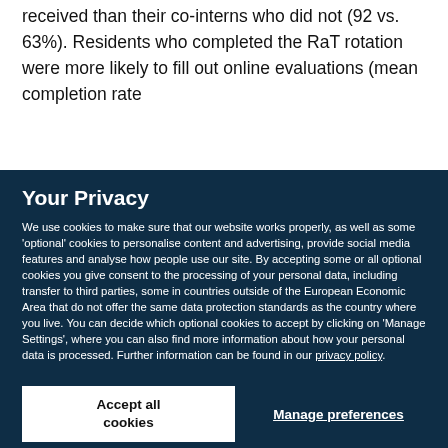received than their co-interns who did not (92 vs. 63%). Residents who completed the RaT rotation were more likely to fill out online evaluations (mean completion rate
Your Privacy
We use cookies to make sure that our website works properly, as well as some 'optional' cookies to personalise content and advertising, provide social media features and analyse how people use our site. By accepting some or all optional cookies you give consent to the processing of your personal data, including transfer to third parties, some in countries outside of the European Economic Area that do not offer the same data protection standards as the country where you live. You can decide which optional cookies to accept by clicking on 'Manage Settings', where you can also find more information about how your personal data is processed. Further information can be found in our privacy policy.
Accept all cookies
Manage preferences